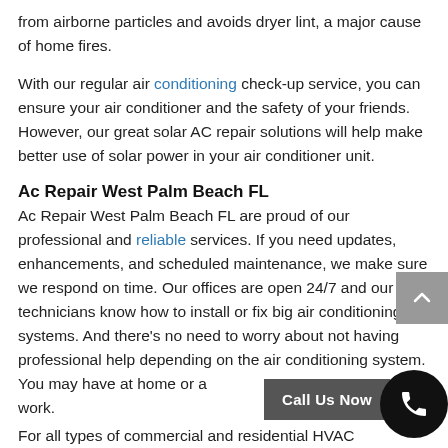from airborne particles and avoids dryer lint, a major cause of home fires.
With our regular air conditioning check-up service, you can ensure your air conditioner and the safety of your friends. However, our great solar AC repair solutions will help make better use of solar power in your air conditioner unit.
Ac Repair West Palm Beach FL
Ac Repair West Palm Beach FL are proud of our professional and reliable services. If you need updates, enhancements, and scheduled maintenance, we make sure we respond on time. Our offices are open 24/7 and our technicians know how to install or fix big air conditioning systems. And there's no need to worry about not having professional help depending on the air conditioning system. You may have at home or at work.
For all types of commercial and residential HVAC